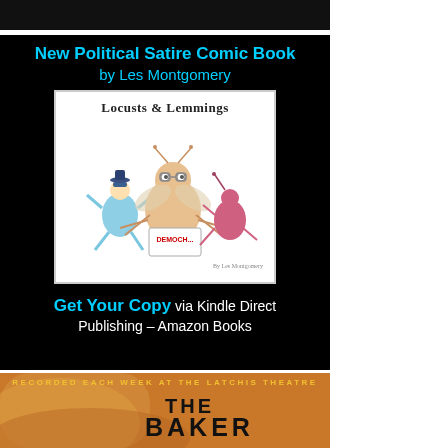[Figure (other): Black banner/header strip at top of page]
[Figure (illustration): Advertisement for 'New Political Satire Comic Book by Les Montgomery' titled 'Locusts & Lemmings' with cover art showing cartoon insects. Call to action: 'Get Your Copy via Kindle Direct Publishing – Amazon Books']
[Figure (other): Advertisement for 'The Baker' show recorded each week at the Latchis Theatre, with western/vintage styled text on aged paper background]